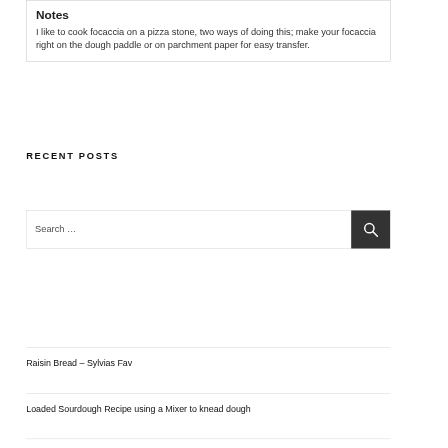Notes
I like to cook focaccia on a pizza stone, two ways of doing this; make your focaccia right on the dough paddle or on parchment paper for easy transfer.
Search …
RECENT POSTS
Raisin Bread – Sylvias Fav
Loaded Sourdough Recipe using a Mixer to knead dough
Light Rye with Caraway Seeds – Steaming bread in your Dutch Oven!